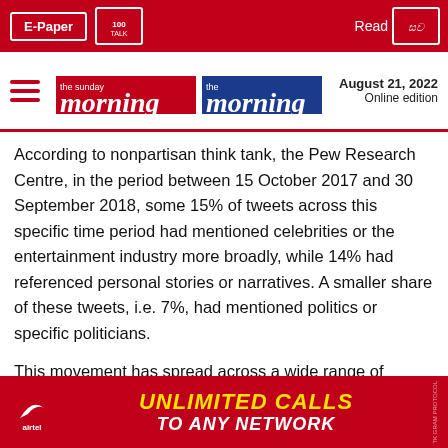E-Paper | [logo] | Read [Sinhala logo]
the sunday morning | the morning | August 21, 2022 Online edition
According to nonpartisan think tank, the Pew Research Centre, in the period between 15 October 2017 and 30 September 2018, some 15% of tweets across this specific time period had mentioned celebrities or the entertainment industry more broadly, while 14% had referenced personal stories or narratives. A smaller share of these tweets, i.e. 7%, had mentioned politics or specific politicians.
This movement has spread across a wide range of countries. The same reports said that #MeToo tweets (71%) over this high usage time period were written in English and that the movement had sparked social media interest across the globe, a[d] tweets during [the]ng
[Figure (other): Airtel advertisement banner: UNLIMITED CALLS TO ANY NETWORK]